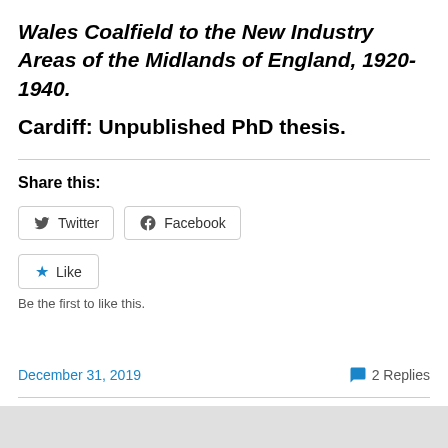Wales Coalfield to the New Industry Areas of the Midlands of England, 1920-1940. Cardiff: Unpublished PhD thesis.
Share this:
[Figure (other): Twitter and Facebook share buttons]
[Figure (other): Like button with star icon]
Be the first to like this.
December 31, 2019
2 Replies